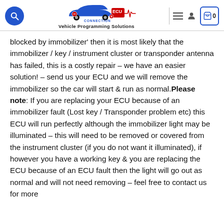ECU Connection - Vehicle Programming Solutions
blocked by immobilizer' then it is most likely that the immobilizer / key / instrument cluster or transponder antenna has failed, this is a costly repair – we have an easier solution! – send us your ECU and we will remove the immobilizer so the car will start & run as normal. Please note: If you are replacing your ECU because of an immobilizer fault (Lost key / Transponder problem etc) this ECU will run perfectly although the immobilizer light may be illuminated – this will need to be removed or covered from the instrument cluster (if you do not want it illuminated), if however you have a working key & you are replacing the ECU because of an ECU fault then the light will go out as normal and will not need removing – feel free to contact us for more